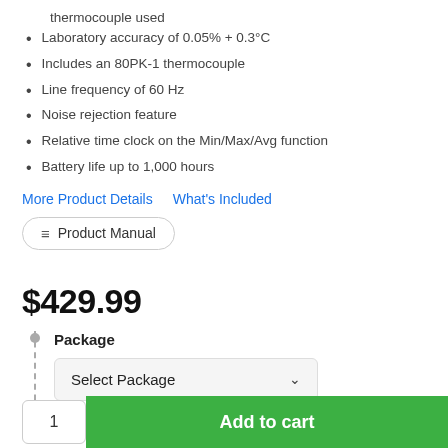thermocouple used
Laboratory accuracy of 0.05% + 0.3°C
Includes an 80PK-1 thermocouple
Line frequency of 60 Hz
Noise rejection feature
Relative time clock on the Min/Max/Avg function
Battery life up to 1,000 hours
More Product Details   What's Included
Product Manual
$429.99
Package
Select Package
1   Add to cart